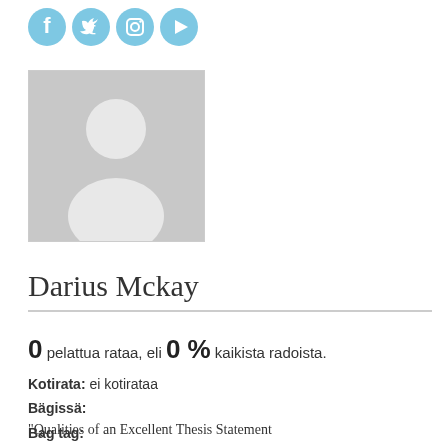[Figure (illustration): Social media icons: Facebook, Twitter, Instagram, YouTube/Play button in light blue circular style]
[Figure (photo): Default grey avatar/profile placeholder image showing silhouette of person with head and shoulders]
Darius Mckay
0 pelattua rataa, eli 0 % kaikista radoista.
Kotirata: ei kotirataa
Bägissä:
Bag tag:
"Qualities of an Excellent Thesis Statement